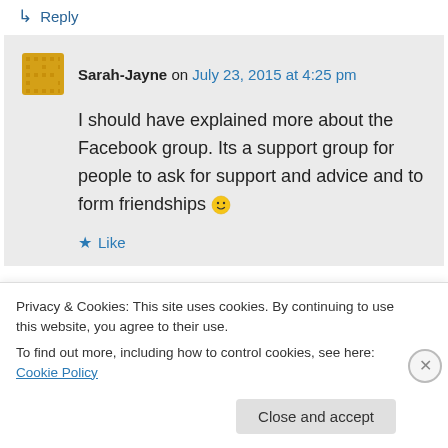↳ Reply
Sarah-Jayne on July 23, 2015 at 4:25 pm
I should have explained more about the Facebook group. Its a support group for people to ask for support and advice and to form friendships 🙂
★ Like
Privacy & Cookies: This site uses cookies. By continuing to use this website, you agree to their use.
To find out more, including how to control cookies, see here: Cookie Policy
Close and accept